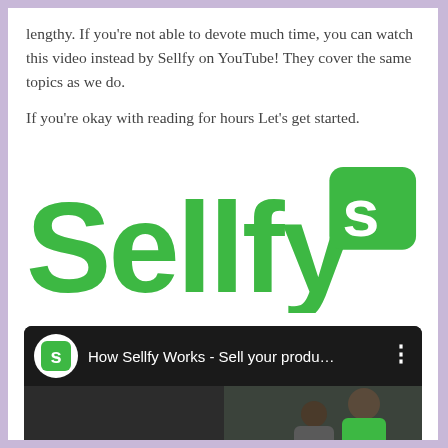lengthy. If you're not able to devote much time, you can watch this video instead by Sellfy on YouTube! They cover the same topics as we do.

If you're okay with reading for hours Let's get started.
[Figure (logo): Sellfy logo in green with large text 'Sellfy' and a green rounded square icon with white 'S']
[Figure (screenshot): YouTube video thumbnail showing 'How Sellfy Works - Sell your produ...' with Sellfy icon and two people at the bottom with text 'How Sellfy Works']